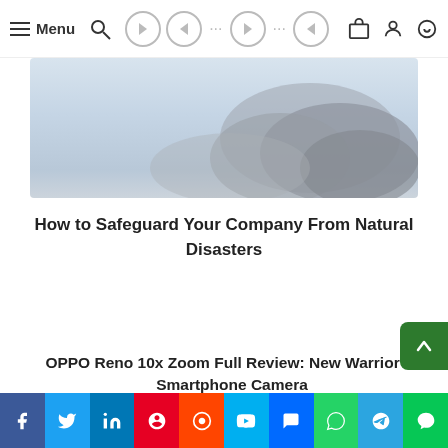Menu
[Figure (photo): Hero image with cloudy/stormy sky background, grayscale tones]
How to Safeguard Your Company From Natural Disasters
OPPO Reno 10x Zoom Full Review: New Warrior of Smartphone Camera
Social share bar: Facebook, Twitter, LinkedIn, Pinterest, Reddit, Skype, Messenger, WhatsApp, Telegram, Line